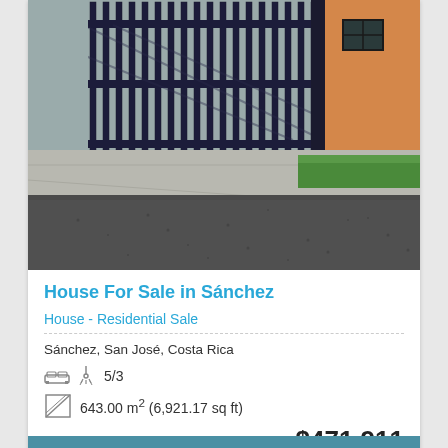[Figure (photo): Exterior photo of a house entrance with a black iron gate, concrete driveway, green grass strip, and orange/yellow wall visible on the right side. Dark asphalt road in foreground.]
House For Sale in Sánchez
House - Residential Sale
Sánchez, San José, Costa Rica
5/3
643.00 m² (6,921.17 sq ft)
$471,911